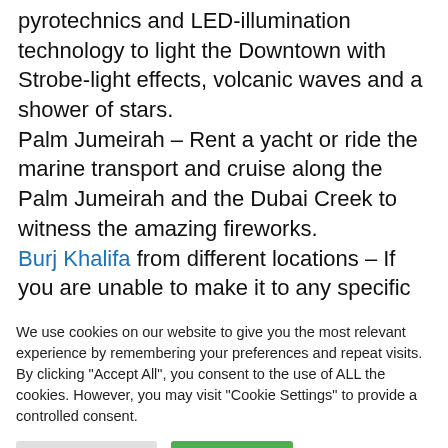pyrotechnics and LED-illumination technology to light the Downtown with Strobe-light effects, volcanic waves and a shower of stars. Palm Jumeirah – Rent a yacht or ride the marine transport and cruise along the Palm Jumeirah and the Dubai Creek to witness the amazing fireworks. Burj Khalifa from different locations – If you are unable to make it to any specific location to view
We use cookies on our website to give you the most relevant experience by remembering your preferences and repeat visits. By clicking "Accept All", you consent to the use of ALL the cookies. However, you may visit "Cookie Settings" to provide a controlled consent.